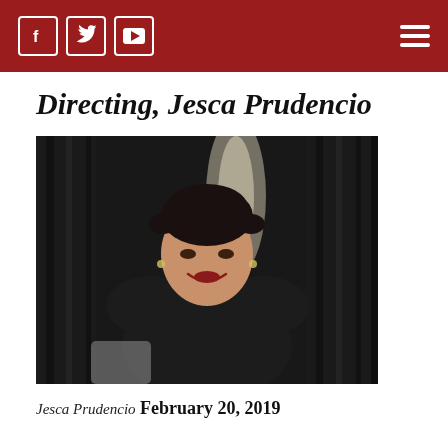Social media icons (Facebook, Twitter, YouTube) and hamburger menu
Directing, Jesca Prudencio
[Figure (photo): Portrait photo of Jesca Prudencio, a woman with dark hair pulled back, smiling, wearing a black top, seated in front of dark draped curtains with a light source behind her.]
Jesca Prudencio
February 20, 2019